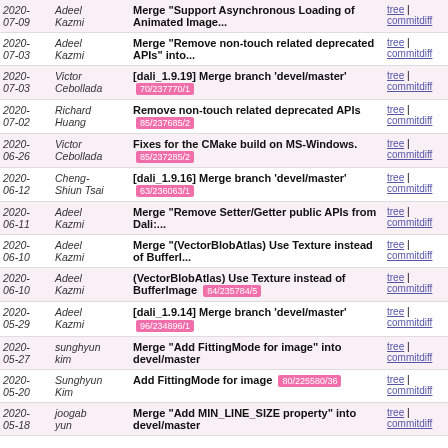| Date | Author | Message | Links |
| --- | --- | --- | --- |
| 2020-07-09 | Adeel Kazmi | Merge "Support Asynchronous Loading of Animated Image..." | tree | commitdiff |
| 2020-07-03 | Adeel Kazmi | Merge "Remove non-touch related deprecated APIs" into... | tree | commitdiff |
| 2020-07-03 | Victor Cebollada | [dali_1.9.19] Merge branch 'devel/master' 70/237770/1 | tree | commitdiff |
| 2020-07-02 | Richard Huang | Remove non-touch related deprecated APIs 85/237685/2 | tree | commitdiff |
| 2020-06-26 | Victor Cebollada | Fixes for the CMake build on MS-Windows. 85/237285/2 | tree | commitdiff |
| 2020-06-12 | Cheng-Shiun Tsai | [dali_1.9.16] Merge branch 'devel/master' 63/236063/1 | tree | commitdiff |
| 2020-06-11 | Adeel Kazmi | Merge "Remove Setter/Getter public APIs from Dali:..." | tree | commitdiff |
| 2020-06-10 | Adeel Kazmi | Merge "(VectorBlobAtlas) Use Texture instead of BufferI..." | tree | commitdiff |
| 2020-06-10 | Adeel Kazmi | (VectorBlobAtlas) Use Texture instead of BufferImage 84/235784/5 | tree | commitdiff |
| 2020-05-29 | Adeel Kazmi | [dali_1.9.14] Merge branch 'devel/master' 96/234896/1 | tree | commitdiff |
| 2020-05-27 | sunghyun kim | Merge "Add FittingMode for image" into devel/master | tree | commitdiff |
| 2020-05-20 | Sunghyun Kim | Add FittingMode for image 80/225580/36 | tree | commitdiff |
| 2020-05-18 | joogab yun | Merge "Add MIN_LINE_SIZE property" into devel/master | tree | commitdiff |